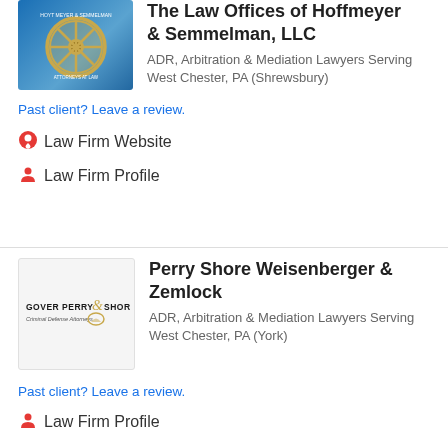[Figure (logo): Hoyt, Meyer & Semmelman LLC law firm logo - ship wheel on blue background]
The Law Offices of Hoffmeyer & Semmelman, LLC
ADR, Arbitration & Mediation Lawyers Serving West Chester, PA (Shrewsbury)
Past client? Leave a review.
Law Firm Website
Law Firm Profile
[Figure (logo): Gover Perry & Shore law firm logo on white background]
Perry Shore Weisenberger & Zemlock
ADR, Arbitration & Mediation Lawyers Serving West Chester, PA (York)
Past client? Leave a review.
Law Firm Profile